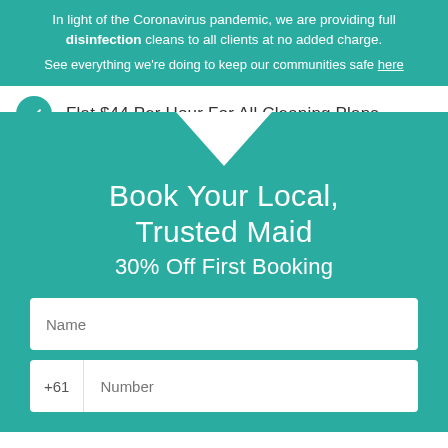In light of the Coronavirus pandemic, we are providing full disinfection cleans to all clients at no added charge. See everything we're doing to keep our communities safe here
Flat $44 Per Hour For All Cleaning Plans
Book Your Local, Trusted Maid
30% Off First Booking
Name
+61  Number